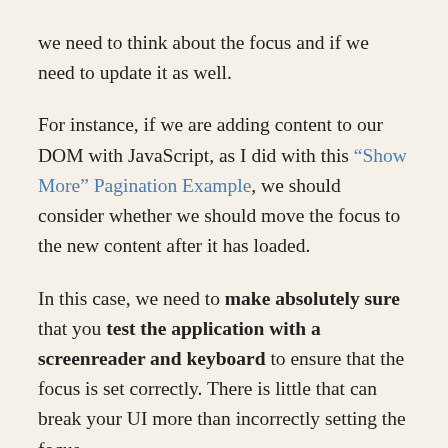we need to think about the focus and if we need to update it as well.
For instance, if we are adding content to our DOM with JavaScript, as I did with this “Show More” Pagination Example, we should consider whether we should move the focus to the new content after it has loaded.
In this case, we need to make absolutely sure that you test the application with a screenreader and keyboard to ensure that the focus is set correctly. There is little that can break your UI more than incorrectly setting the focus.